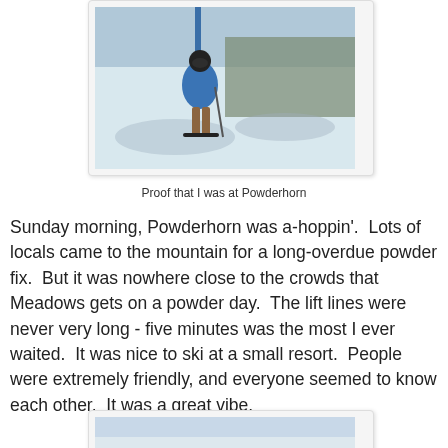[Figure (photo): Skier in blue jacket and helmet standing on snowy slope at Powderhorn ski resort, trees and snowy terrain visible in background]
Proof that I was at Powderhorn
Sunday morning, Powderhorn was a-hoppin'.  Lots of locals came to the mountain for a long-overdue powder fix.  But it was nowhere close to the crowds that Meadows gets on a powder day.  The lift lines were never very long - five minutes was the most I ever waited.  It was nice to ski at a small resort.  People were extremely friendly, and everyone seemed to know each other.  It was a great vibe.
[Figure (photo): Partial view of mountain/sky scene at bottom of page, cut off]